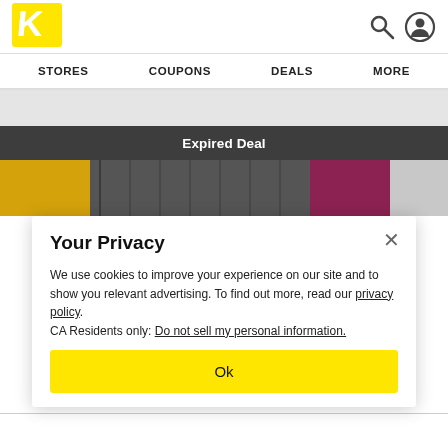[Figure (logo): Kmart yellow K logo on white square background]
STORES   COUPONS   DEALS   MORE
Expired Deal
[Figure (photo): Clothing items on rack — yellow tank top, black garments, burgundy item, white background]
Your Privacy
We use cookies to improve your experience on our site and to show you relevant advertising. To find out more, read our privacy policy.
CA Residents only: Do not sell my personal information.
Ok